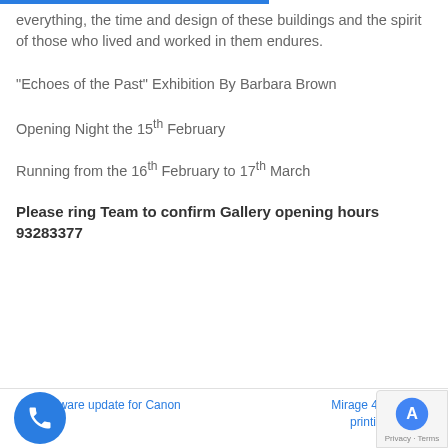everything, the time and design of these buildings and the spirit of those who lived and worked in them endures.
“Echoes of the Past” Exhibition By Barbara Brown
Opening Night the 15th February
Running from the 16th February to 17th March
Please ring Team to confirm Gallery opening hours 93283377
← Firmware update for Canon B... | Mirage 4.0 Printing... printing made s...